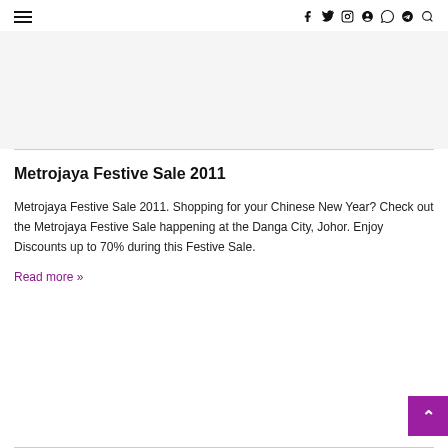≡  f  Twitter  Instagram  Pinterest  WhatsApp  Telegram  Search
Metrojaya Festive Sale 2011
Metrojaya Festive Sale 2011. Shopping for your Chinese New Year? Check out the Metrojaya Festive Sale happening at the Danga City, Johor. Enjoy Discounts up to 70% during this Festive Sale.
Read more »